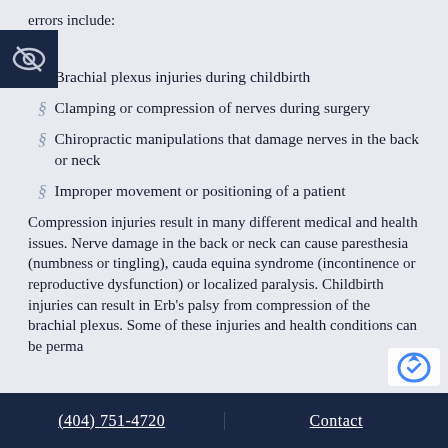errors include:
Brachial plexus injuries during childbirth
Clamping or compression of nerves during surgery
Chiropractic manipulations that damage nerves in the back or neck
Improper movement or positioning of a patient
Compression injuries result in many different medical and health issues. Nerve damage in the back or neck can cause paresthesia (numbness or tingling), cauda equina syndrome (incontinence or reproductive dysfunction) or localized paralysis. Childbirth injuries can result in Erb's palsy from compression of the brachial plexus. Some of these injuries and health conditions can be perma
(404) 751-4720   Contact